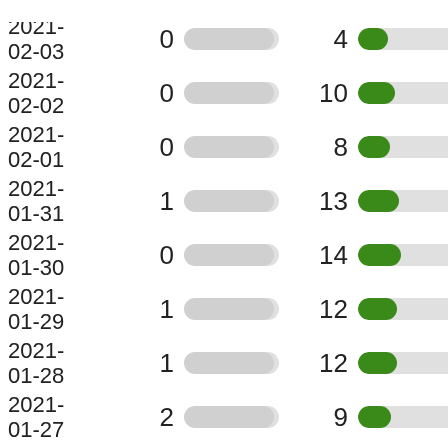| Date | Value1 | Bar1 | Value2 | Bar2 |
| --- | --- | --- | --- | --- |
| 2021-02-03 | 0 |  | 4 |  |
| 2021-02-02 | 0 |  | 10 |  |
| 2021-02-01 | 0 |  | 8 |  |
| 2021-01-31 | 1 |  | 13 |  |
| 2021-01-30 | 0 |  | 14 |  |
| 2021-01-29 | 1 |  | 12 |  |
| 2021-01-28 | 1 |  | 12 |  |
| 2021-01-27 | 2 |  | 9 |  |